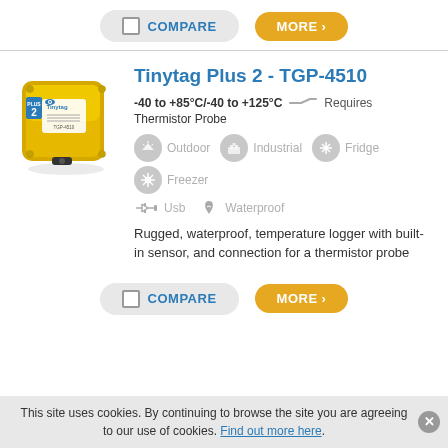COMPARE | MORE
Tinytag Plus 2 - TGP-4510
-40 to +85°C/-40 to +125°C   Requires Thermistor Probe
[Figure (illustration): Icons for Outdoor, Industrial, Fridge, Freezer environments shown as grey circles with symbols]
[Figure (illustration): Icons for USB and Waterproof features shown with grey symbols]
[Figure (photo): Yellow Tinytag Plus 2 TGP-4510 data logger device]
Rugged, waterproof, temperature logger with built-in sensor, and connection for a thermistor probe
COMPARE | MORE
This site uses cookies. By continuing to browse the site you are agreeing to our use of cookies. Find out more here.